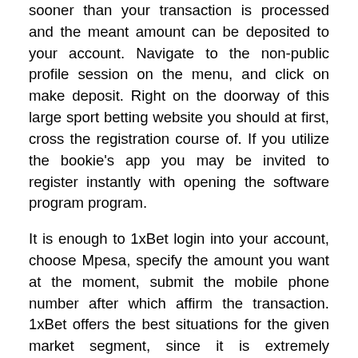sooner than your transaction is processed and the meant amount can be deposited to your account. Navigate to the non-public profile session on the menu, and click on make deposit. Right on the doorway of this large sport betting website you should at first, cross the registration course of. If you utilize the bookie's app you may be invited to register instantly with opening the software program program.
It is enough to 1xBet login into your account, choose Mpesa, specify the amount you want at the moment, submit the mobile phone number after which affirm the transaction. 1xBet offers the best situations for the given market segment, since it is extremely important for the corporate to offer its users with many benefits. Moreover, when you do it, you presumably can receive a real bonus and use it to make further forecasts. Our firm provides the withdrawal of winnings in full, subsequently by choosing the leaders, you will get 100 percent safety in any respect stages of the cooperation. Now you may make winnings together with us, it's easier than ever. Obviously, in modern world the customers want to have access to exclusive leisure that can allow them to chill out properly and concurrently hit